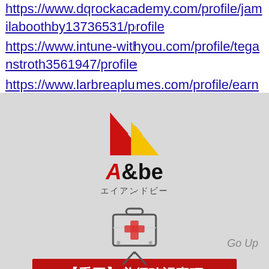https://www.dqrockacademy.com/profile/jamilaboothby13736531/profile
https://www.intune-withyou.com/profile/teganstroth3561947/profile
https://www.larbreaplumes.com/profile/earnestdziuk10783501/profile
[Figure (logo): A&be (エイアンドビー) logo with red and yellow triangle shapes above the text, followed by a medical kit icon and a red button reading 【重要】必須確認事項, with a Go Up label and caret arrow at the bottom]